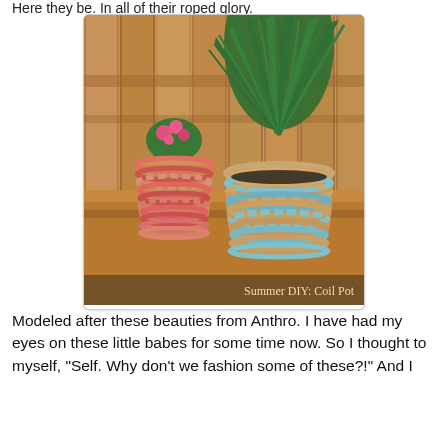Here they be. In all of their roped glory.
[Figure (photo): Two rope-coiled flower pots on a wooden bench. The smaller pot on the left has pink/coral rope and contains a pink flowering plant. The larger pot on the right has natural and blue rope and contains a tall green palm-like plant. Caption reads 'Summer DIY: Coil Pot'.]
Summer DIY: Coil Pot
Modeled after these beauties from Anthro. I have had my eyes on these little babes for some time now. So I thought to myself, "Self. Why don't we fashion some of these?!" And I